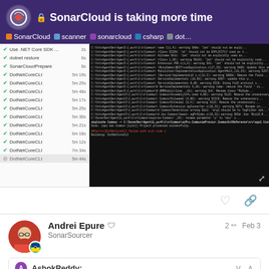SonarCloud is taking more time
[Figure (screenshot): Screenshot showing a build pipeline list on the left with multiple DotNetCoreCLI steps and a terminal window on the right showing compiler warnings and build output on a dark background]
Andrei Epure - SonarSourcer - 2 edits - Feb 3
AshokReddy: Seems each task is taking more than 5 have 17+ tasks.
16 / 23